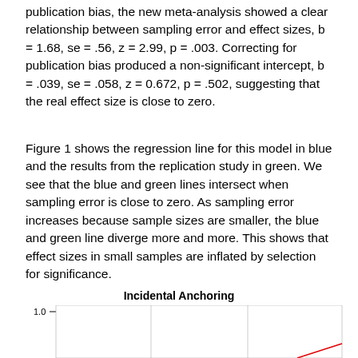publication bias, the new meta-analysis showed a clear relationship between sampling error and effect sizes, b = 1.68, se = .56, z = 2.99, p = .003. Correcting for publication bias produced a non-significant intercept, b = .039, se = .058, z = 0.672, p = .502, suggesting that the real effect size is close to zero.
Figure 1 shows the regression line for this model in blue and the results from the replication study in green. We see that the blue and green lines intersect when sampling error is close to zero. As sampling error increases because sample sizes are smaller, the blue and green line diverge more and more. This shows that effect sizes in small samples are inflated by selection for significance.
[Figure (continuous-plot): A plot showing regression lines for a meta-analysis model. The y-axis shows values with 1.0 visible at top. The chart area shows a white background with gridlines. A red line is partially visible at the bottom right.]